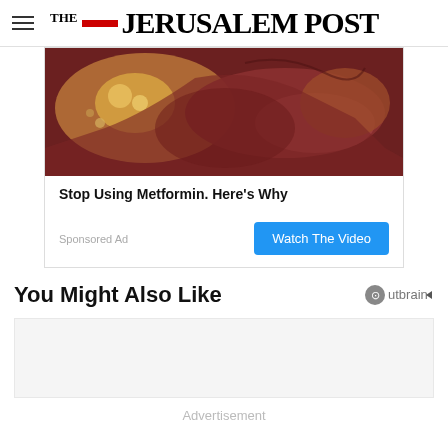THE JERUSALEM POST
[Figure (photo): Close-up medical/biological image, appears to show internal body tissue in reddish-brown tones]
Stop Using Metformin. Here's Why
Sponsored Ad
Watch The Video
You Might Also Like
Advertisement